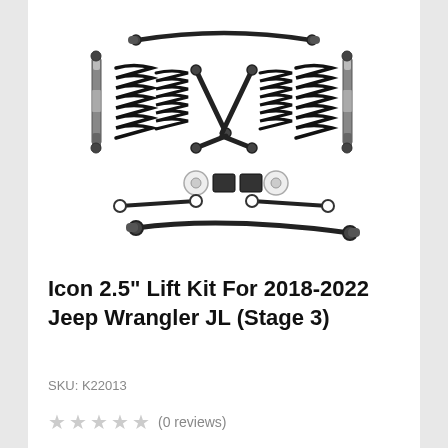[Figure (photo): Icon 2.5 inch lift kit components laid out flat including coil springs, shock absorbers, control arms, track bars, and hardware for a Jeep Wrangler JL]
Icon 2.5" Lift Kit For 2018-2022 Jeep Wrangler JL (Stage 3)
SKU: K22013
★★★★★ (0 reviews)